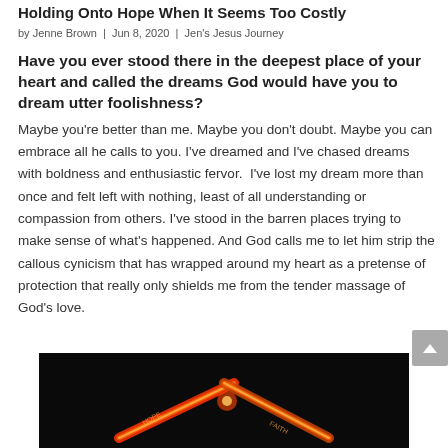Holding Onto Hope When It Seems Too Costly
by Jenne Brown | Jun 8, 2020 | Jen's Jesus Journey
Have you ever stood there in the deepest place of your heart and called the dreams God would have you to dream utter foolishness?
Maybe you're better than me. Maybe you don't doubt. Maybe you can embrace all he calls to you. I've dreamed and I've chased dreams with boldness and enthusiastic fervor.  I've lost my dream more than once and felt left with nothing, least of all understanding or compassion from others. I've stood in the barren places trying to make sense of what's happened. And God calls me to let him strip the callous cynicism that has wrapped around my heart as a pretense of protection that really only shields me from the tender massage of God's love.
[Figure (photo): Dark background with glowing red/orange neon-style crossed sticks or arrows forming an X shape, suggesting a cross or directional signs with illuminated text.]